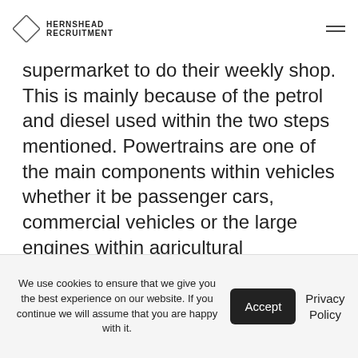HERNSHEAD RECRUITMENT
supermarket to do their weekly shop. This is mainly because of the petrol and diesel used within the two steps mentioned. Powertrains are one of the main components within vehicles whether it be passenger cars, commercial vehicles or the large engines within agricultural vehicles/machines and this company offering this opportunity is looking to develop a greener and safer way for these vehicles
We use cookies to ensure that we give you the best experience on our website. If you continue we will assume that you are happy with it.